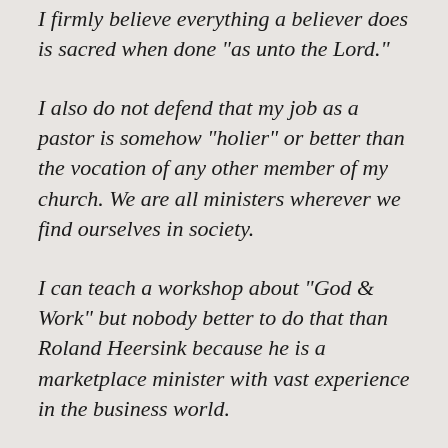I firmly believe everything a believer does is sacred when done "as unto the Lord."
I also do not defend that my job as a pastor is somehow "holier" or better than the vocation of any other member of my church. We are all ministers wherever we find ourselves in society.
I can teach a workshop about "God & Work" but nobody better to do that than Roland Heersink because he is a marketplace minister with vast experience in the business world.
He brings not only solid Biblical perspectives but also a wealth of hands on experience.
I recommend this workshop to pastors